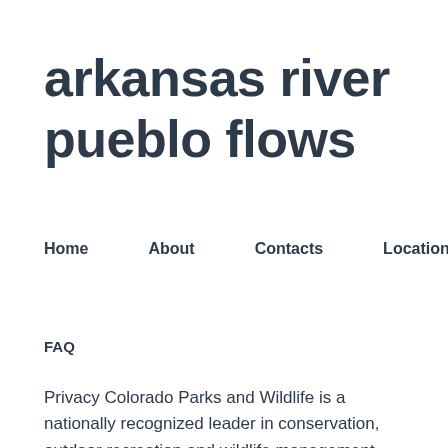arkansas river pueblo flows
Home   About   Contacts   Location
FAQ
Privacy Colorado Parks and Wildlife is a nationally recognized leader in conservation, outdoor recreation and wildlife management.